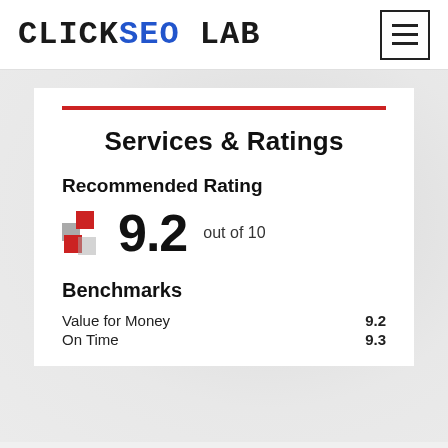CLICKSEO LAB
Services & Ratings
Recommended Rating
9.2 out of 10
Benchmarks
|  |  |
| --- | --- |
| Value for Money | 9.2 |
| On Time | 9.3 |